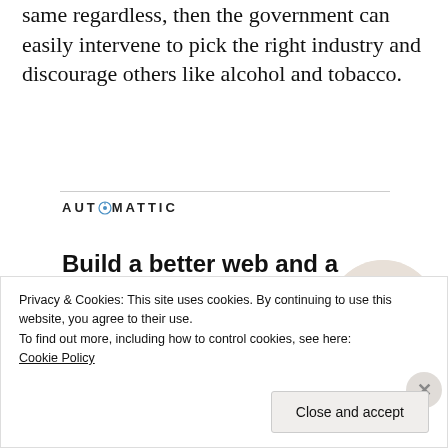same regardless, then the government can easily intervene to pick the right industry and discourage others like alcohol and tobacco.
[Figure (logo): Automattic logo with circular 'O' icon and spaced uppercase lettering]
[Figure (infographic): Automattic job advertisement: 'Build a better web and a better world.' with an Apply button and a circular photo of a person thinking]
Privacy & Cookies: This site uses cookies. By continuing to use this website, you agree to their use.
To find out more, including how to control cookies, see here: Cookie Policy
Close and accept